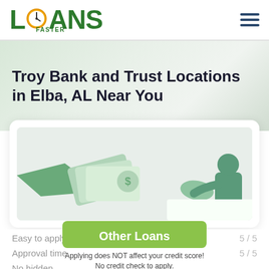LOANS FASTER
Troy Bank and Trust Locations in Elba, AL Near You
[Figure (illustration): Illustration of a hand passing money/cash to another person, depicted in a flat green/grey style on a light background.]
Easy to apply
5 / 5
Approval time
5 / 5
No hidden condition
4 / 5
Other Loans
Applying does NOT affect your credit score! No credit check to apply.